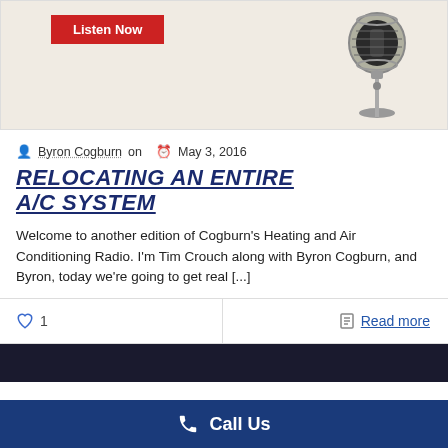[Figure (photo): Beige/cream background banner image with a red 'Listen Now' button on the left and a vintage microphone on the right side]
Byron Cogburn on  May 3, 2016
RELOCATING AN ENTIRE A/C SYSTEM
Welcome to another edition of Cogburn's Heating and Air Conditioning Radio. I'm Tim Crouch along with Byron Cogburn, and Byron, today we're going to get real [...]
1
Read more
[Figure (photo): Dark banner image at the bottom, partially visible]
Call Us